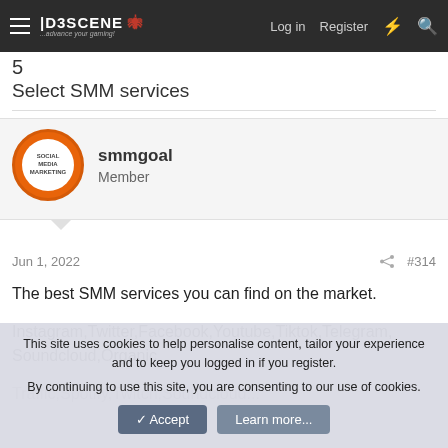D3SCENE | Log in  Register
5
Select SMM services
smmgoal
Member
Jun 1, 2022  #314
The best SMM services you can find on the market.

Instagram,Twitter,Facebook,Youtube,Tiktok,Telegram,Soundcloud,Organic

Traffic,Spotify,Twitch,Soundcloud...
This site uses cookies to help personalise content, tailor your experience and to keep you logged in if you register.
By continuing to use this site, you are consenting to our use of cookies.
✓ Accept  Learn more...